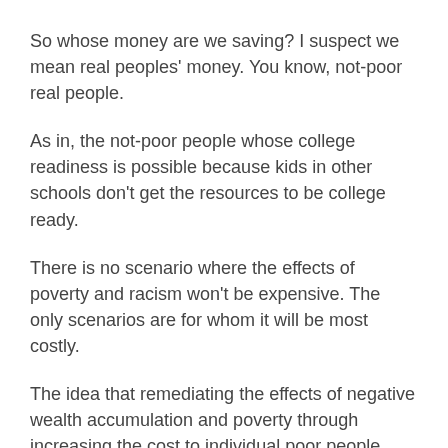So whose money are we saving? I suspect we mean real peoples' money. You know, not-poor real people.
As in, the not-poor people whose college readiness is possible because kids in other schools don't get the resources to be college ready.
There is no scenario where the effects of poverty and racism won't be expensive. The only scenarios are for whom it will be most costly.
The idea that remediating the effects of negative wealth accumulation and poverty through increasing the cost to individual poor people, who are more likely to be black, is anything but racist paternalism has yet to be effectively argued. Mostly because those who propose college readiness tests are too afraid of being called racist to seriously consider the racist effects of their proposals.